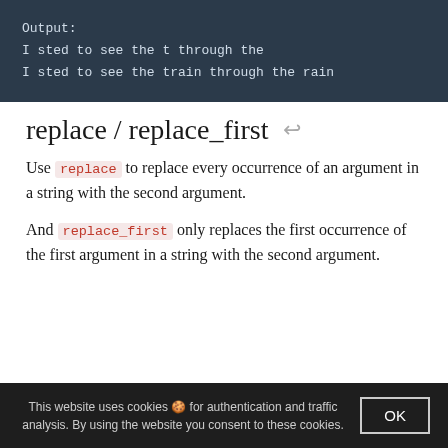Output:
I sted to see the t through the
I sted to see the train through the rain
replace / replace_first
Use replace to replace every occurrence of an argument in a string with the second argument.
And replace_first only replaces the first occurrence of the first argument in a string with the second argument.
This website uses cookies 🍪 for authentication and traffic analysis. By using the website you consent to these cookies.